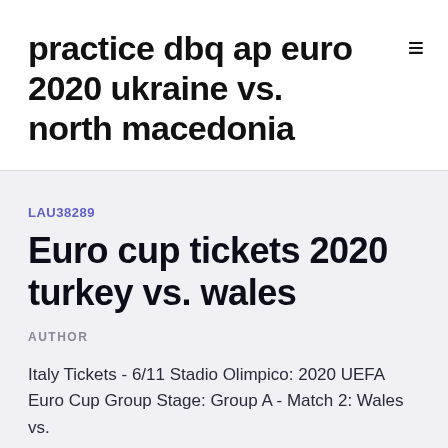practice dbq ap euro 2020 ukraine vs. north macedonia
LAU38289
Euro cup tickets 2020 turkey vs. wales
AUTHOR
Italy Tickets - 6/11 Stadio Olimpico: 2020 UEFA Euro Cup Group Stage: Group A - Match 2: Wales vs.